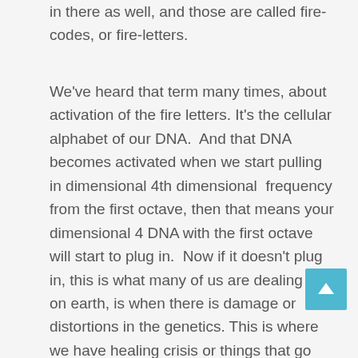in there as well, and those are called fire-codes, or fire-letters.
We've heard that term many times, about activation of the fire letters. It's the cellular alphabet of our DNA.  And that DNA becomes activated when we start pulling in dimensional 4th dimensional  frequency from the first octave, then that means your dimensional 4 DNA with the first octave will start to plug in.  Now if it doesn't plug in, this is what many of us are dealing with on earth, is when there is damage or distortions in the genetics. This is where we have healing crisis or things that go on.  And as we know , the 4th dimension is primarily astral plane, and I would say, is probably the most challenging and problematic of which to really work through and heal, because of all of the distortions